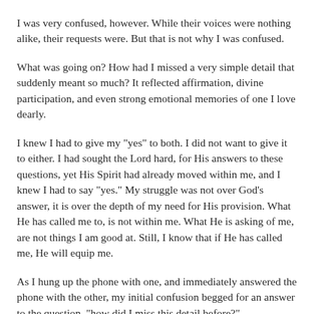I was very confused, however. While their voices were nothing alike, their requests were. But that is not why I was confused.
What was going on? How had I missed a very simple detail that suddenly meant so much? It reflected affirmation, divine participation, and even strong emotional memories of one I love dearly.
I knew I had to give my "yes" to both. I did not want to give it to either. I had sought the Lord hard, for His answers to these questions, yet His Spirit had already moved within me, and I knew I had to say "yes." My struggle was not over God's answer, it is over the depth of my need for His provision. What He has called me to, is not within me. What He is asking of me, are not things I am good at. Still, I know that if He has called me, He will equip me.
As I hung up the phone with one, and immediately answered the phone with the other, my initial confusion begged for an answer to the question, "how did I miss this detail before?"